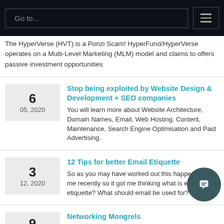Go to...
The HyperVerse (HVT) is a Ponzi Scam! HyperFund/HyperVerse operates on a Multi-Level Marketing (MLM) model and claims to offers passive investment opportunities
Stop being exploited by Website Design & Development + SEO companies
You will learn more about Website Architecture, Domain Names, Email, Web Hosting, Content, Maintenance, Search Engine Optimisation and Paid Advertising.
12 Tips for better Email Etiquette
So as you may have worked out this happened to me recently so it got me thinking what is email etiquette? What should email be used for?
Networking Mongrels
Networking is certainly a great way to build your